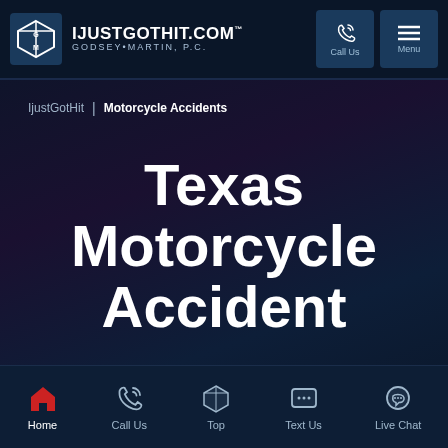IJUSTGOTHIT.COM | GODSEY MARTIN, P.C. | Call Us | Menu
IjustGotHit | Motorcycle Accidents
Texas Motorcycle Accident
Home | Call Us | Top | Text Us | Live Chat